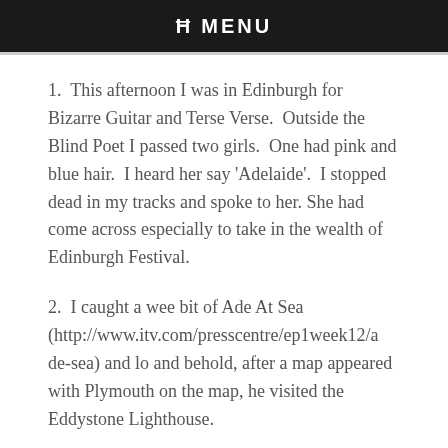ħ MENU
1.  This afternoon I was in Edinburgh for Bizarre Guitar and Terse Verse.  Outside the Blind Poet I passed two girls.  One had pink and blue hair.  I heard her say 'Adelaide'.  I stopped dead in my tracks and spoke to her.  She had come across especially to take in the wealth of Edinburgh Festival.
2.  I caught a wee bit of Ade At Sea (http://www.itv.com/presscentre/ep1week12/ade-sea) and lo and behold, after a map appeared with Plymouth on the map, he visited the Eddystone Lighthouse.
150 years ago today City of Adelaide picked